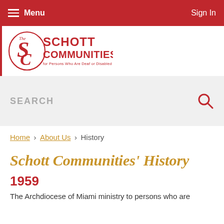Menu | Sign In
[Figure (logo): The Schott Communities for Persons Who Are Deaf or Disabled logo — red oval with stylized S and C letters, red text]
SEARCH
Home › About Us › History
Schott Communities' History
1959
The Archdiocese of Miami ministry to persons who are